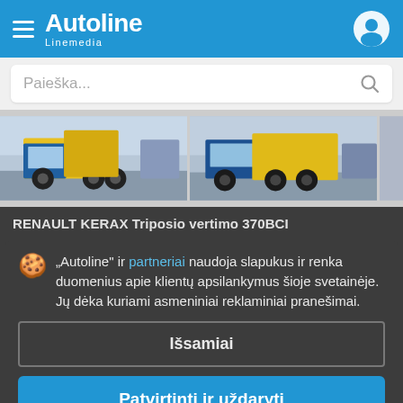Autoline Linemedia
Paieška...
[Figure (photo): Two photos of a yellow and blue Renault Kerax dump truck in a parking area]
RENAULT KERAX Triposio vertimo 370BCI
"Autoline" ir partneriai naudoja slapukus ir renka duomenius apie klientų apsilankymus šioje svetainėje. Jų dėka kuriami asmeniniai reklaminiai pranešimai.
Išsamiai
Patvirtinti ir uždaryti